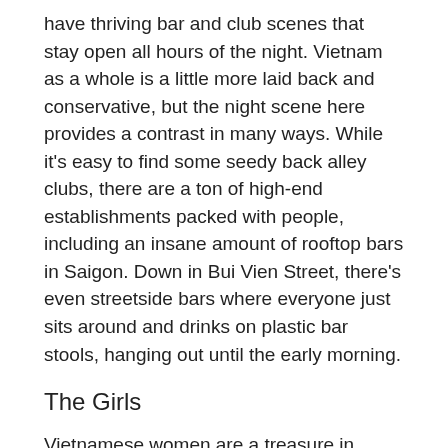have thriving bar and club scenes that stay open all hours of the night. Vietnam as a whole is a little more laid back and conservative, but the night scene here provides a contrast in many ways. While it's easy to find some seedy back alley clubs, there are a ton of high-end establishments packed with people, including an insane amount of rooftop bars in Saigon. Down in Bui Vien Street, there's even streetside bars where everyone just sits around and drinks on plastic bar stools, hanging out until the early morning.
The Girls
Vietnamese women are a treasure in every way, lacking many of the annoying stereotypes you'll find in nearby countries. It's fairly common for a western dude to visit Vietnam, and fall in love with the women here. They are confident, smart, outwardly conservative, lady-like, and